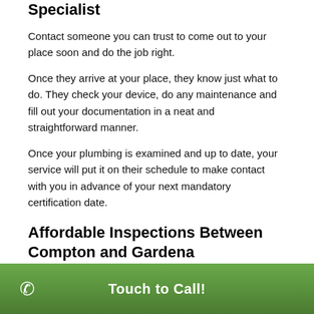Specialist
Contact someone you can trust to come out to your place soon and do the job right.
Once they arrive at your place, they know just what to do. They check your device, do any maintenance and fill out your documentation in a neat and straightforward manner.
Once your plumbing is examined and up to date, your service will put it on their schedule to make contact with you in advance of your next mandatory certification date.
Affordable Inspections Between Compton and Gardena
The expense of one of these inspections usually isn't too high.
Touch to Call!